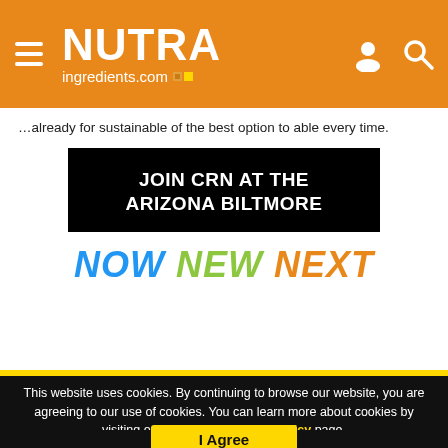NUTRAingredients.com
...already for sustainable of the best option to able every time.
[Figure (infographic): Black banner ad: JOIN CRN AT THE ARIZONA BILTMORE, with NOW NEW NEXT tagline in blue, green, and orange italic text]
This website uses cookies. By continuing to browse our website, you are agreeing to our use of cookies. You can learn more about cookies by visiting our privacy & cookies policy page.